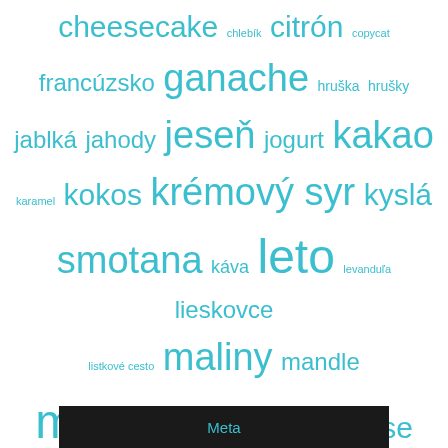[Figure (other): Word cloud in teal/cyan color containing Slovak food and ingredient related tags of varying sizes: cheesecake, chlebík, citrón, copycat, francúzsko, ganache, hruška, hrušky, jablká, jahody, jeseň, jogurt, kakao, karamel, kokos, krémový syr, kyslá smotana, káva, leto, levanduľa, lieskovce, listkové cesto, maliny, mandle, mascarpone, mousse, nepečený, nutella, oreo, pomaranč, puding, rýchle, slaný karamel, tvaroh, veľká noc, vianoce, čerešne, čokoláda, čučoriedky, škorica, šľahačka]
Meta